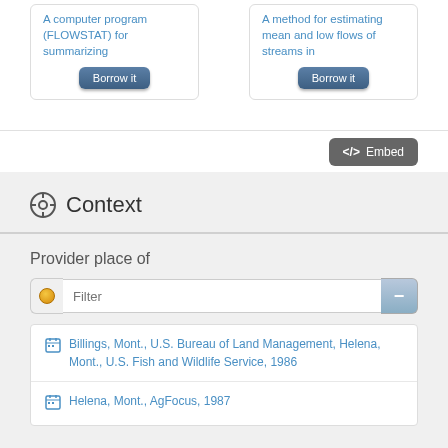A computer program (FLOWSTAT) for summarizing
Borrow it
A method for estimating mean and low flows of streams in
Borrow it
</> Embed
Context
Provider place of
Filter
Billings, Mont., U.S. Bureau of Land Management, Helena, Mont., U.S. Fish and Wildlife Service, 1986
Helena, Mont., AgFocus, 1987